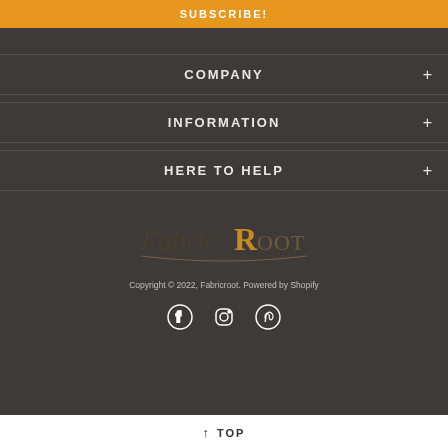SUBSCRIBE!
COMPANY +
INFORMATION +
HERE TO HELP +
[Figure (logo): FabricRoot logo in dark serif/display font with golden accent]
Copyright © 2022, Fabricroot. Powered by Shopify
[Figure (infographic): Social media icons: Facebook, Instagram, Pinterest]
↑ TOP